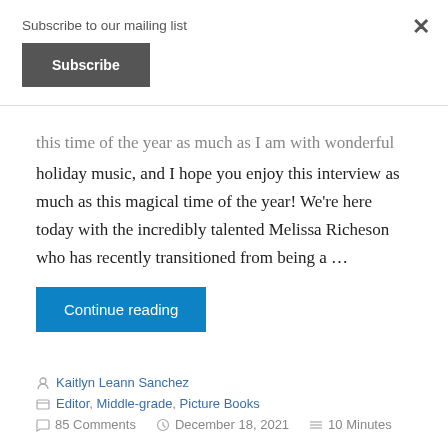Subscribe to our mailing list
Subscribe
this time of the year as much as I am with wonderful holiday music, and I hope you enjoy this interview as much as this magical time of the year! We're here today with the incredibly talented Melissa Richeson who has recently transitioned from being a …
Continue reading
Kaitlyn Leann Sanchez
Editor, Middle-grade, Picture Books
85 Comments   December 18, 2021   10 Minutes